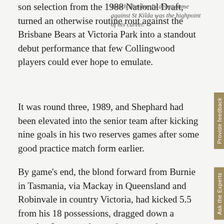son selection from the 1988 National Draft, turned an otherwise routine rout against the Brisbane Bears at Victoria Park into a standout debut performance that few Collingwood players could ever hope to emulate.
Heath Shephard's debut game against St Kilda was the highpoint of his career.
It was round three, 1989, and Shephard had been elevated into the senior team after kicking nine goals in his two reserves games after some good practice match form earlier.
By game's end, the blond forward from Burnie in Tasmania, via Mackay in Queensland and Robinvale in country Victoria, had kicked 5.5 from his 18 possessions, dragged down a couple of spectacular marks, secured a Brownlow Medal vote, and managed with his family to keep the Collingwood Social Club open well beyond its normal